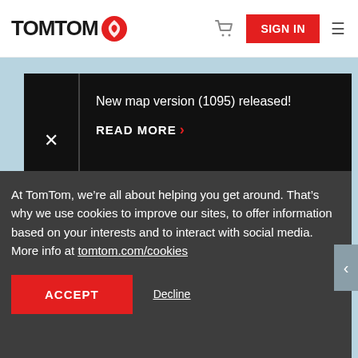[Figure (logo): TomTom logo with red hand/flame icon]
SIGN IN
New map version (1095) released!
READ MORE >
At TomTom, we're all about helping you get around. That's why we use cookies to improve our sites, to offer information based on your interests and to interact with social media. More info at tomtom.com/cookies
ACCEPT
Decline